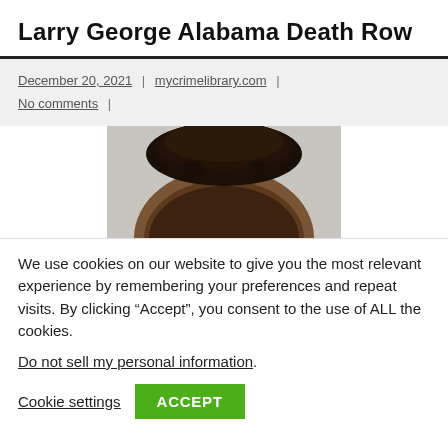Larry George Alabama Death Row
December 20, 2021 | mycrimelibrary.com | No comments |
[Figure (photo): Partial mugshot photograph showing the top of a person's head with dark hair against a light gray background.]
We use cookies on our website to give you the most relevant experience by remembering your preferences and repeat visits. By clicking “Accept”, you consent to the use of ALL the cookies.
Do not sell my personal information.
Cookie settings   ACCEPT